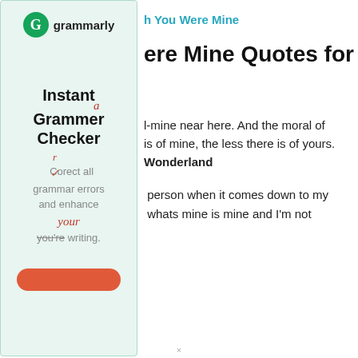[Figure (advertisement): Grammarly advertisement panel with logo, 'Instant Grammar Checker' headline, 'Corect all grammar errors and enhance your writing.' text, and a red button at the bottom.]
h You Were Mine
ere Mine Quotes for
l-mine near here. And the moral of is of mine, the less there is of yours. Wonderland
person when it comes down to my whats mine is mine and I'm not